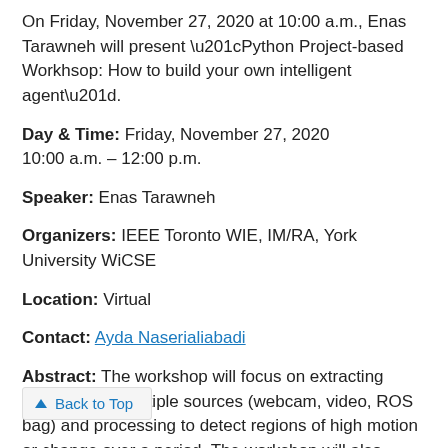On Friday, November 27, 2020 at 10:00 a.m., Enas Tarawneh will present “Python Project-based Workhsop: How to build your own intelligent agent”.
Day & Time: Friday, November 27, 2020
10:00 a.m. – 12:00 p.m.
Speaker: Enas Tarawneh
Organizers: IEEE Toronto WIE, IM/RA, York University WiCSE
Location: Virtual
Contact: Ayda Naserialiabadi
Abstract: The workshop will focus on extracting images from multiple sources (webcam, video, ROS bag) and processing to detect regions of high motion or change over a period. The workshop will also